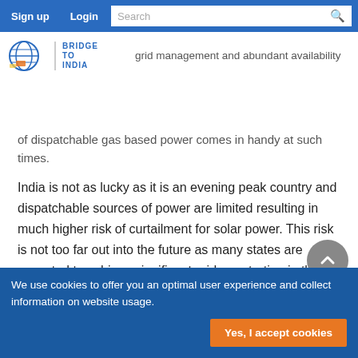Sign up  Login  Search
[Figure (logo): Bridge to India logo with globe icon and text BRIDGE TO INDIA]
with peak solar generating hours. An integrated European grid, grid management and abundant availability of dispatchable gas based power comes in handy at such times.
India is not as lucky as it is an evening peak country and dispatchable sources of power are limited resulting in much higher risk of curtailment for solar power. This risk is not too far out into the future as many states are expected to achieve significant grid penetration in the next 1-2 years. Telangana is expected to add around 3 GW of solar power capacity by 2017 and the state is known to be planning further significant allocations. With average estimated day
We use cookies to offer you an optimal user experience and collect information on website usage.